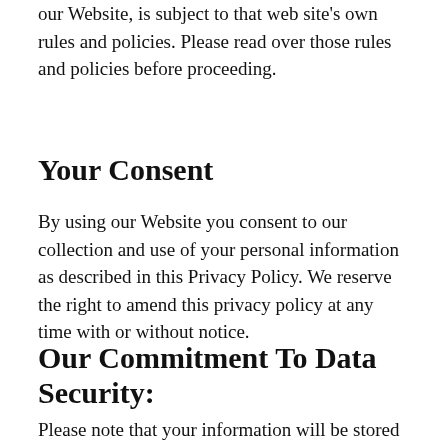our Website, is subject to that web site's own rules and policies. Please read over those rules and policies before proceeding.
Your Consent
By using our Website you consent to our collection and use of your personal information as described in this Privacy Policy. We reserve the right to amend this privacy policy at any time with or without notice.
Our Commitment To Data Security:
Please note that your information will be stored and processed on our computers in the United States. The laws on holding personal data in the United States may be less stringent than the laws of your Country of